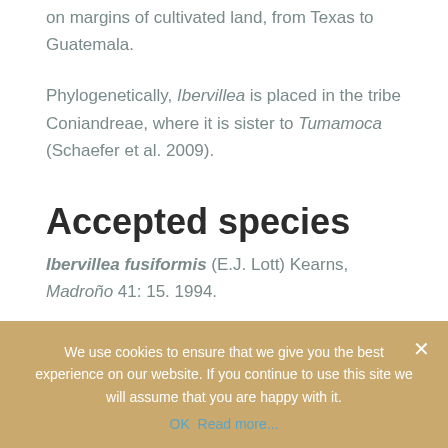on margins of cultivated land, from Texas to Guatemala.
Phylogenetically, Ibervillea is placed in the tribe Coniandreae, where it is sister to Tumamoca (Schaefer et al. 2009).
Accepted species
Ibervillea fusiformis (E.J. Lott) Kearns, Madroño 41: 15. 1994.
We use cookies to ensure that we give you the best experience on our website. If you continue to use this site we will assume that you are happy with it.